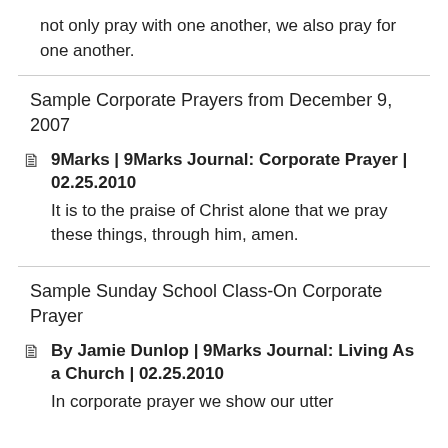not only pray with one another, we also pray for one another.
Sample Corporate Prayers from December 9, 2007
9Marks | 9Marks Journal: Corporate Prayer | 02.25.2010
It is to the praise of Christ alone that we pray these things, through him, amen.
Sample Sunday School Class-On Corporate Prayer
By Jamie Dunlop | 9Marks Journal: Living As a Church | 02.25.2010
In corporate prayer we show our utter